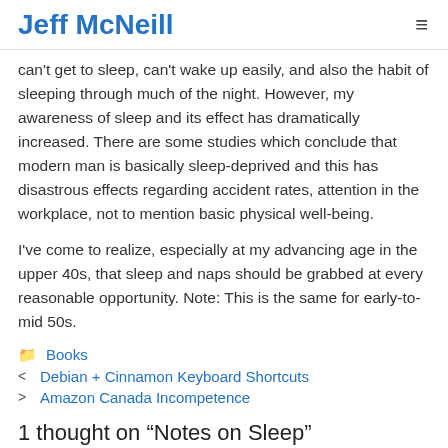Jeff McNeill
can't get to sleep, can't wake up easily, and also the habit of sleeping through much of the night. However, my awareness of sleep and its effect has dramatically increased. There are some studies which conclude that modern man is basically sleep-deprived and this has disastrous effects regarding accident rates, attention in the workplace, not to mention basic physical well-being.
I've come to realize, especially at my advancing age in the upper 40s, that sleep and naps should be grabbed at every reasonable opportunity. Note: This is the same for early-to-mid 50s.
Books
Debian + Cinnamon Keyboard Shortcuts
Amazon Canada Incompetence
1 thought on “Notes on Sleep”